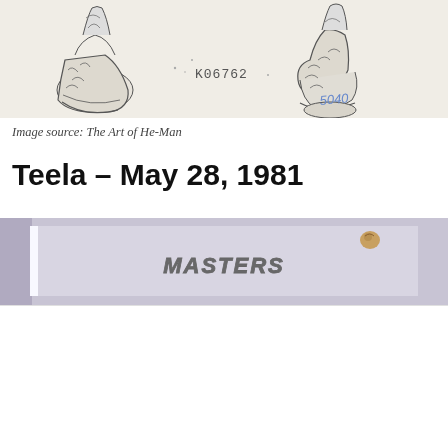[Figure (illustration): Pencil sketch of two cartoon/toy character figures showing lower body/boots, with a stamp reading K06762 and handwritten number 5040]
Image source: The Art of He-Man
Teela – May 28, 1981
[Figure (photo): Partial photo showing a purple/lavender colored document or card with Masters of the Universe logo text visible]
We use cookies on our website to give you the most relevant experience by remembering your preferences and repeat visits. By clicking "Accept All", you consent to the use of ALL the cookies. However, you may visit "Cookie Settings" to provide a controlled consent.